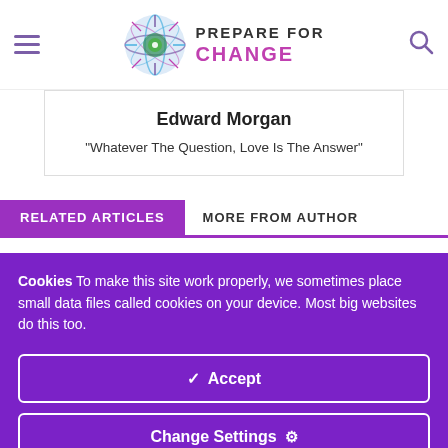Prepare For Change
Edward Morgan
"Whatever The Question, Love Is The Answer"
RELATED ARTICLES   MORE FROM AUTHOR
Cookies To make this site work properly, we sometimes place small data files called cookies on your device. Most big websites do this too.
✓ Accept
Change Settings ⚙